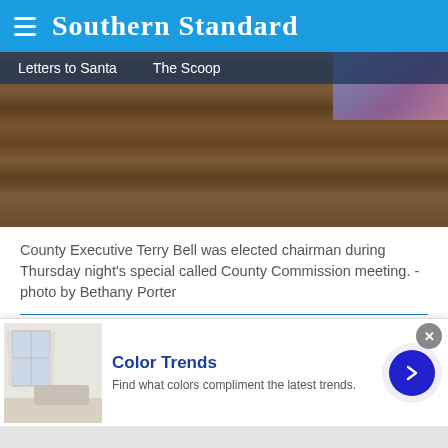Southern Standard
[Figure (photo): Navigation bar overlay with 'Letters to Santa' and 'The Scoop' links over a dark wood-textured background, with a purple/blue image in the top right corner]
County Executive Terry Bell was elected chairman during Thursday night's special called County Commission meeting. - photo by Bethany Porter
Bethany Porter
Published: Sep 4, 2022, 1:37 AM
[Figure (infographic): Social sharing icons for Facebook, Twitter, and Pinterest/link]
[Figure (infographic): Advertisement banner for 'Color Trends' with a room photo, text 'Find what colors compliment the latest trends.', a forward arrow button, and a close X button]